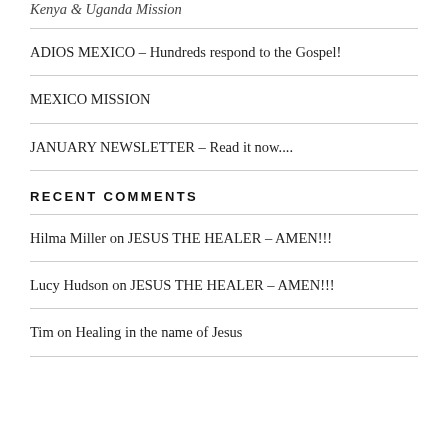Kenya & Uganda Mission
ADIOS MEXICO – Hundreds respond to the Gospel!
MEXICO MISSION
JANUARY NEWSLETTER – Read it now....
RECENT COMMENTS
Hilma Miller on JESUS THE HEALER – AMEN!!!
Lucy Hudson on JESUS THE HEALER – AMEN!!!
Tim on Healing in the name of Jesus